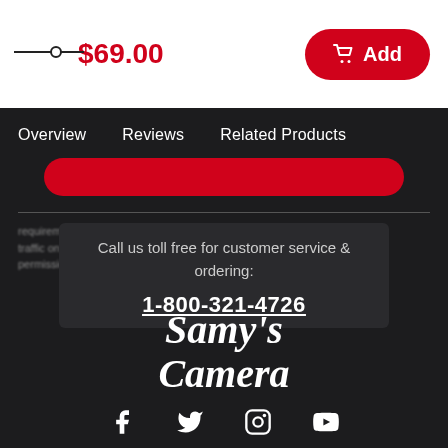$69.00
[Figure (other): Add to cart button with red background and cart icon, labeled 'Add']
Overview   Reviews   Related Products
[Figure (illustration): Red pill-shaped button (partially visible text)]
Samy's Camera
Call us toll free for customer service & ordering:
1-800-321-4726
[Figure (other): Social media icons row: Facebook, Twitter, Instagram, YouTube]